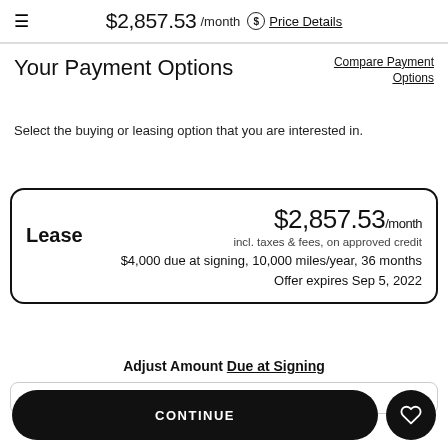≡  $2,857.53 /month  $ Price Details
Your Payment Options
Compare Payment Options
Select the buying or leasing option that you are interested in.
| Lease | $2,857.53/month | incl. taxes & fees, on approved credit | $4,000 due at signing, 10,000 miles/year, 36 months | Offer expires Sep 5, 2022 |
Adjust Amount Due at Signing
CONTINUE